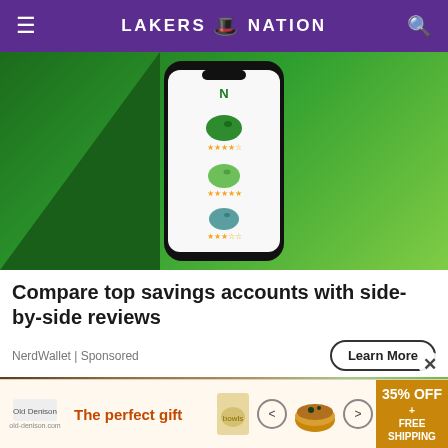LAKERS NATION
[Figure (photo): NerdWallet advertisement showing a smartphone with piggy bank icons and star ratings on a green background]
Compare top savings accounts with side-by-side reviews
NerdWallet | Sponsored
Learn More
[Figure (photo): Partial preview of a second article image]
[Figure (infographic): Bottom banner ad: The perfect gift - 35% OFF + FREE SHIPPING with food bowl image and navigation arrows]